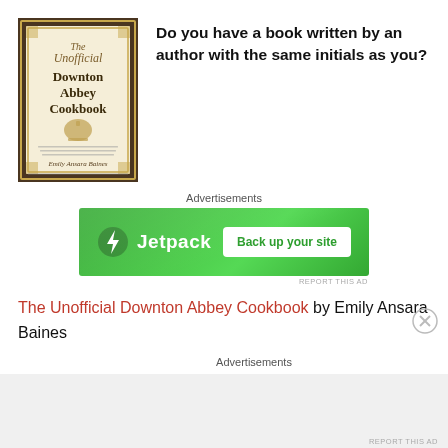[Figure (photo): Photo of the book cover 'The Unofficial Downton Abbey Cookbook']
Do you have a book written by an author with the same initials as you?
Advertisements
[Figure (other): Jetpack advertisement banner with green background, Jetpack logo and 'Back up your site' button]
REPORT THIS AD
The Unofficial Downton Abbey Cookbook by Emily Ansara Baines
Advertisements
REPORT THIS AD